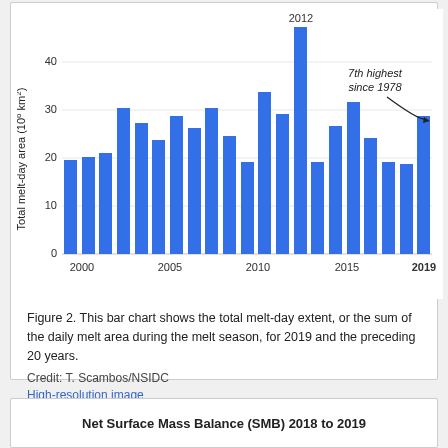[Figure (bar-chart): Total melt-day area (10⁶ km²)]
Figure 2. This bar chart shows the total melt-day extent, or the sum of the daily melt area during the melt season, for 2019 and the preceding 20 years.
Credit: T. Scambos/NSIDC
High-resolution image
Net Surface Mass Balance (SMB) 2018 to 2019